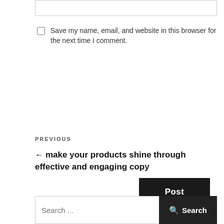Save my name, email, and website in this browser for the next time I comment.
Post Comment
PREVIOUS
← make your products shine through effective and engaging copy
Search ...